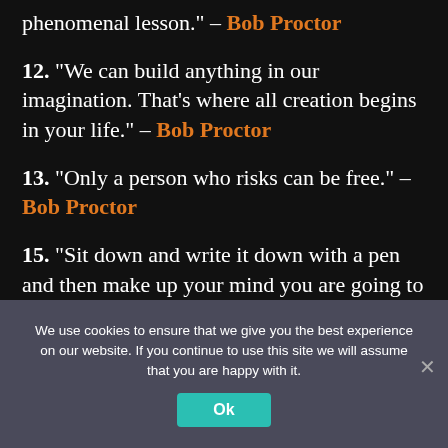phenomenal lesson." – Bob Proctor
12. “We can build anything in our imagination. That’s where all creation begins in your life.” – Bob Proctor
13. “Only a person who risks can be free.” – Bob Proctor
15. “Sit down and write it down with a pen and then make up your mind you are going to do it. Don’t spend any time thinking of why you can’t. The fun is
We use cookies to ensure that we give you the best experience on our website. If you continue to use this site we will assume that you are happy with it.